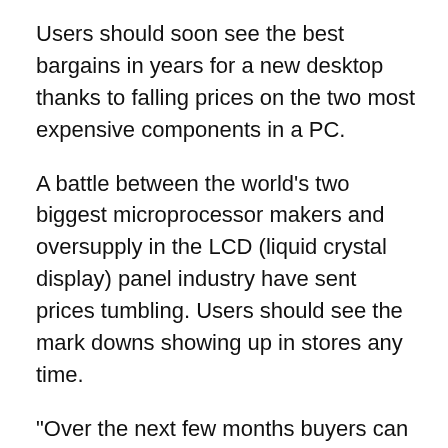Users should soon see the best bargains in years for a new desktop thanks to falling prices on the two most expensive components in a PC.
A battle between the world’s two biggest microprocessor makers and oversupply in the LCD (liquid crystal display) panel industry have sent prices tumbling. Users should see the mark downs showing up in stores any time.
“Over the next few months buyers can expect to continue to see PC bargains as the industry clears stock of older inventory,” said Charles Smulders, managing vice president of Gartner Inc.’s client computing group. He said the fourth quarter might also offer good buying opportunities as PC makers try to keep up sales prior to the launch of Windows Vista